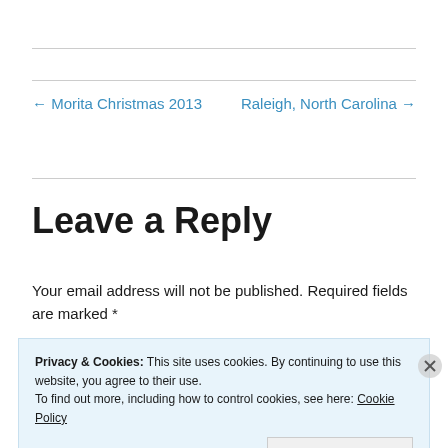← Morita Christmas 2013
Raleigh, North Carolina →
Leave a Reply
Your email address will not be published. Required fields are marked *
Privacy & Cookies: This site uses cookies. By continuing to use this website, you agree to their use. To find out more, including how to control cookies, see here: Cookie Policy
Close and accept